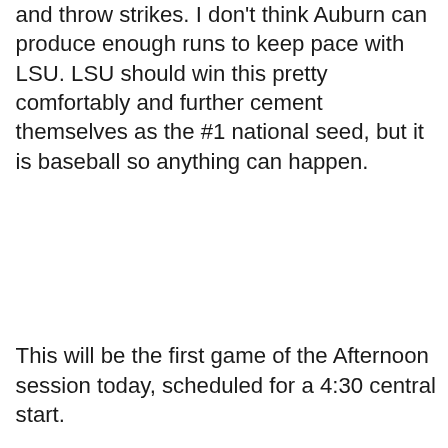and throw strikes. I don't think Auburn can produce enough runs to keep pace with LSU. LSU should win this pretty comfortably and further cement themselves as the #1 national seed, but it is baseball so anything can happen.
This will be the first game of the Afternoon session today, scheduled for a 4:30 central start.
| Jaray Jenkins |  |
| --- | --- |
| O/U Receiving Yards (vs. FSU) | 40.5 |
| O/U Receiving |  |